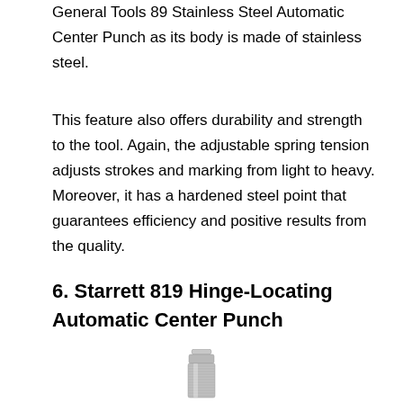General Tools 89 Stainless Steel Automatic Center Punch as its body is made of stainless steel.
This feature also offers durability and strength to the tool. Again, the adjustable spring tension adjusts strokes and marking from light to heavy. Moreover, it has a hardened steel point that guarantees efficiency and positive results from the quality.
6. Starrett 819 Hinge-Locating Automatic Center Punch
[Figure (photo): Partial image of a Starrett 819 Hinge-Locating Automatic Center Punch, showing the top portion of a metallic cylindrical tool with knurled grip texture.]